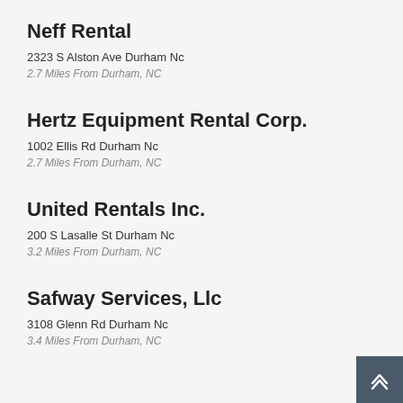Neff Rental
2323 S Alston Ave Durham Nc
2.7 Miles From Durham, NC
Hertz Equipment Rental Corp.
1002 Ellis Rd Durham Nc
2.7 Miles From Durham, NC
United Rentals Inc.
200 S Lasalle St Durham Nc
3.2 Miles From Durham, NC
Safway Services, Llc
3108 Glenn Rd Durham Nc
3.4 Miles From Durham, NC